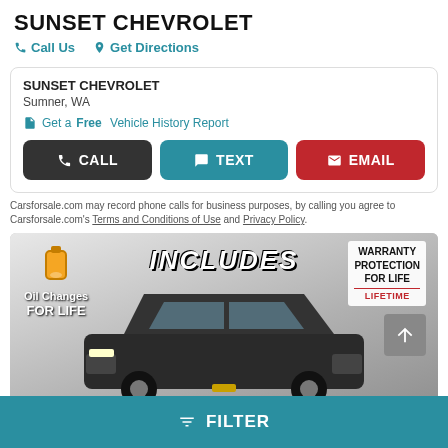SUNSET CHEVROLET
Call Us   Get Directions
SUNSET CHEVROLET
Sumner, WA
Get a Free Vehicle History Report
CALL   TEXT   EMAIL
Carsforsale.com may record phone calls for business purposes, by calling you agree to Carsforsale.com's Terms and Conditions of Use and Privacy Policy.
[Figure (photo): Promotional image of a dark-colored Chevrolet SUV with overlaid text: 'INCLUDES', 'Oil Changes FOR LIFE', 'WARRANTY PROTECTION FOR LIFE LIFETIME']
FILTER